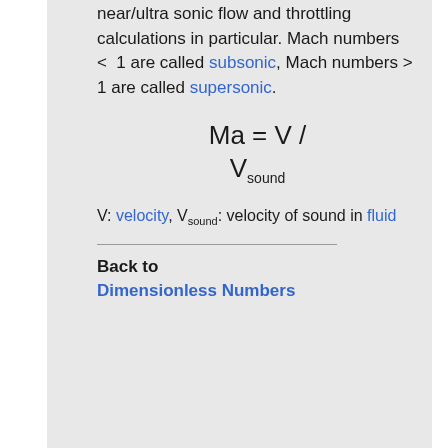near/ultra sonic flow and throttling calculations in particular. Mach numbers < 1 are called subsonic, Mach numbers > 1 are called supersonic.
V: velocity, V_sound: velocity of sound in fluid
Back to Dimensionless Numbers
[Figure (other): Social sharing icons: Twitter, Facebook, Delicious, Digg, StumbleUpon, Reddit, with 'I like it!' text]